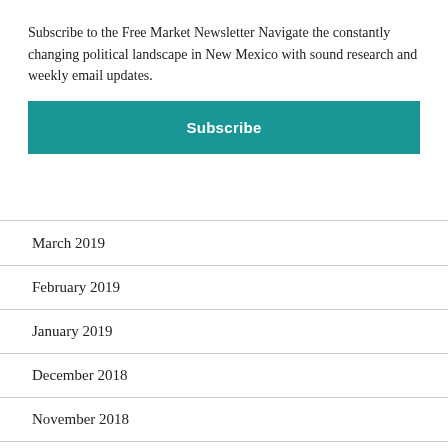× (close button)
Subscribe to the Free Market Newsletter Navigate the constantly changing political landscape in New Mexico with sound research and weekly email updates.
Subscribe
March 2019
February 2019
January 2019
December 2018
November 2018
October 2018
September 2018